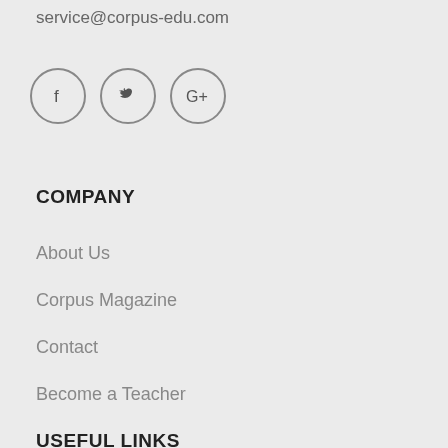service@corpus-edu.com
[Figure (illustration): Three social media icon buttons in circles: Facebook (f), Twitter (bird), Google+ (G+)]
COMPANY
About Us
Corpus Magazine
Contact
Become a Teacher
USEFUL LINKS
Courses
Events